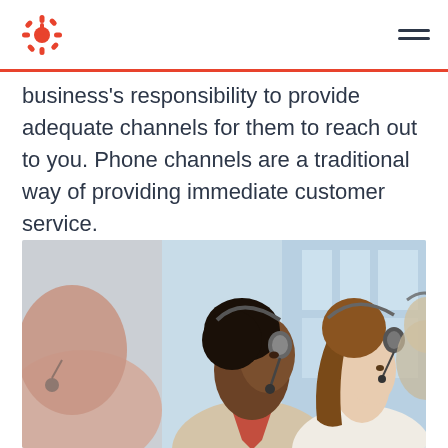HubSpot logo and navigation menu
business's responsibility to provide adequate channels for them to reach out to you. Phone channels are a traditional way of providing immediate customer service.
[Figure (photo): Row of customer service representatives wearing headsets, photographed from the side in an office environment. Three people are in focus: a man on the left (blurred foreground), a woman in the center wearing a red tie and beige blazer, and a woman with long brown hair on the right. A fourth person is partially visible in the background. Blue office windows are visible in the background.]